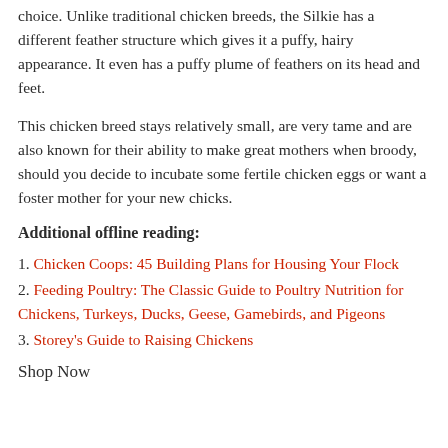choice. Unlike traditional chicken breeds, the Silkie has a different feather structure which gives it a puffy, hairy appearance. It even has a puffy plume of feathers on its head and feet.
This chicken breed stays relatively small, are very tame and are also known for their ability to make great mothers when broody, should you decide to incubate some fertile chicken eggs or want a foster mother for your new chicks.
Additional offline reading:
1. Chicken Coops: 45 Building Plans for Housing Your Flock
2. Feeding Poultry: The Classic Guide to Poultry Nutrition for Chickens, Turkeys, Ducks, Geese, Gamebirds, and Pigeons
3. Storey's Guide to Raising Chickens
Shop Now